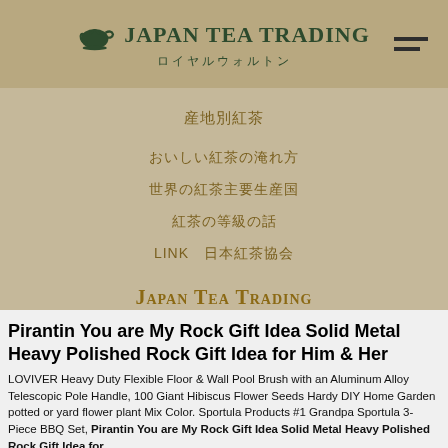[Figure (logo): Japan Tea Trading logo with teapot icon and Japanese text ロイヤルウォルトン in header bar]
産地別紅茶
おいしい紅茶の淹れ方
世界の紅茶主要生産国
紅茶の等級の話
LINK　日本紅茶協会
[Figure (logo): Japan Tea Trading footer logo with Japanese text ジャパン・ティー・トレーディング株式会社 and Japan Tea Trading Co., Ltd. All rights reserved.]
Pirantin You are My Rock Gift Idea Solid Metal Heavy Polished Rock Gift Idea for Him & Her
LOVIVER Heavy Duty Flexible Floor & Wall Pool Brush with an Aluminum Alloy Telescopic Pole Handle, 100 Giant Hibiscus Flower Seeds Hardy DIY Home Garden potted or yard flower plant Mix Color. Sportula Products #1 Grandpa Sportula 3-Piece BBQ Set, Pirantin You are My Rock Gift Idea Solid Metal Heavy Polished Rock Gift Idea for